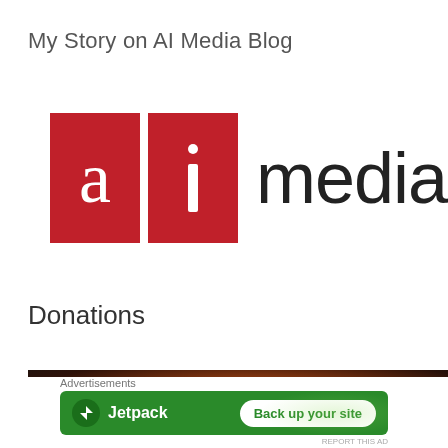My Story on AI Media Blog
[Figure (logo): AI Media logo: two red squares with white lowercase 'a' and 'i' letters, followed by the word 'media' in dark thin font]
Donations
[Figure (photo): Dark close-up photo strip, partially visible, showing warm brown tones]
Advertisements
[Figure (screenshot): Jetpack advertisement banner: green background with Jetpack logo and 'Back up your site' button]